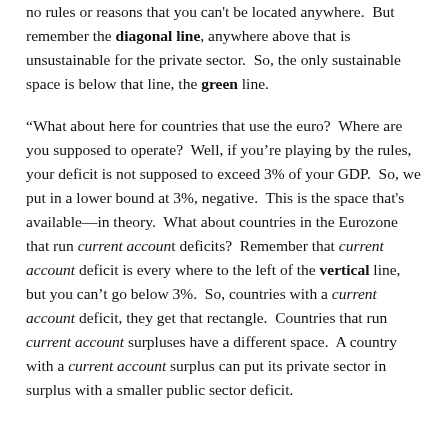no rules or reasons that you can't be located anywhere.  But remember the diagonal line, anywhere above that is unsustainable for the private sector.  So, the only sustainable space is below that line, the green line.
“What about here for countries that use the euro?  Where are you supposed to operate?  Well, if you’re playing by the rules, your deficit is not supposed to exceed 3% of your GDP.  So, we put in a lower bound at 3%, negative.  This is the space that's available—in theory.  What about countries in the Eurozone that run current account deficits?  Remember that current account deficit is every where to the left of the vertical line, but you can’t go below 3%.  So, countries with a current account deficit, they get that rectangle.  Countries that run current account surpluses have a different space.  A country with a current account surplus can put its private sector in surplus with a smaller public sector deficit.